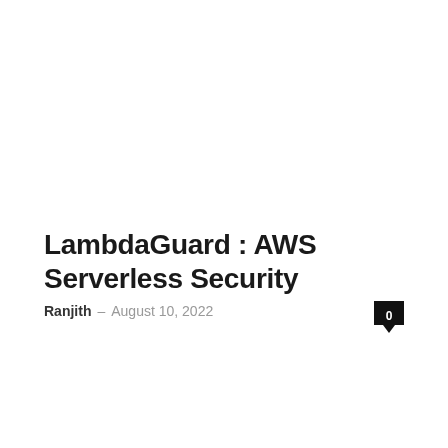LambdaGuard : AWS Serverless Security
Ranjith · August 10, 2022